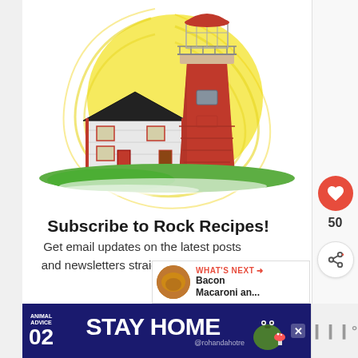[Figure (illustration): Colorful illustration of a red lighthouse with a white keeper's house, set against a yellow sun with swirling rays and green grass foreground]
Subscribe to Rock Recipes!
Get email updates on the latest posts and newsletters straight to your inbox.
[Figure (photo): Thumbnail image of Bacon Macaroni dish next to a 'WHAT'S NEXT' label with arrow]
[Figure (infographic): Ad banner: ANIMAL ADVICE 02 STAY HOME @rohandahotre with dark blue background and illustrated characters]